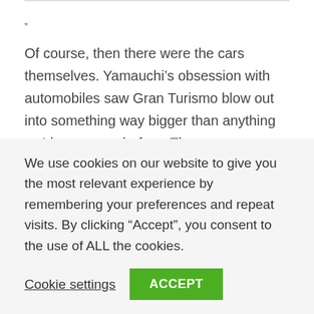”
Of course, then there were the cars themselves. Yamauchi’s obsession with automobiles saw Gran Turismo blow out into something way bigger than anything we’d ever seen before. There were over 150 cars in the original Gran Turismo. Sure, maybe that doesn’t sound like a lot today, when modern day racers are arriving with hundreds and hundreds of cars – but 25 years ago 150 cars was a borderline baffling number. The
We use cookies on our website to give you the most relevant experience by remembering your preferences and repeat visits. By clicking “Accept”, you consent to the use of ALL the cookies.
Cookie settings
ACCEPT